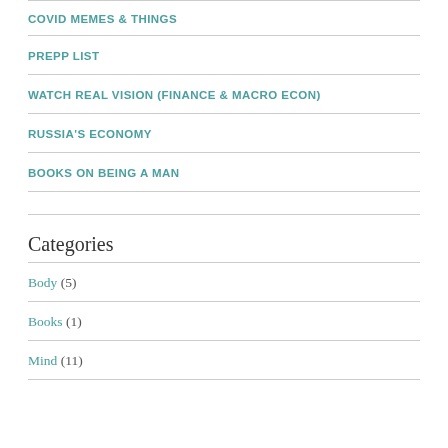COVID MEMES & THINGS
PREPP LIST
WATCH REAL VISION (FINANCE & MACRO ECON)
RUSSIA'S ECONOMY
BOOKS ON BEING A MAN
Categories
Body (5)
Books (1)
Mind (11)